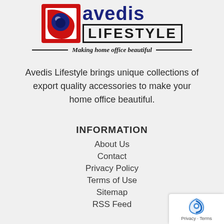[Figure (logo): Avedis Lifestyle logo with red and blue icon on left, 'avedis' in blue bold text and 'LIFESTYLE' in black bold boxed text on right, tagline 'Making home office beautiful' with decorative lines below]
Avedis Lifestyle brings unique collections of export quality accessories to make your home office beautiful.
INFORMATION
About Us
Contact
Privacy Policy
Terms of Use
Sitemap
RSS Feed